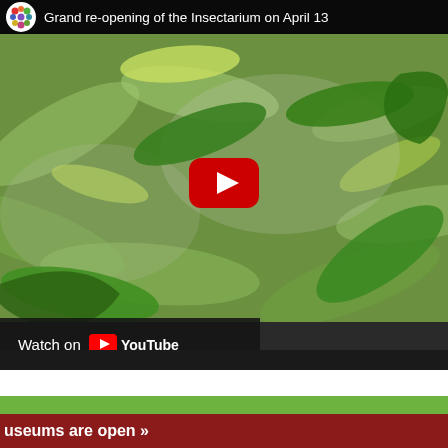[Figure (screenshot): YouTube video thumbnail showing a butterfly on green leaves with a red play button overlay. Video title: 'Grand re-opening of the Insectarium on April 13'. Header shows a colorful circular logo. Footer shows 'Watch on YouTube' bar.]
useums are open »